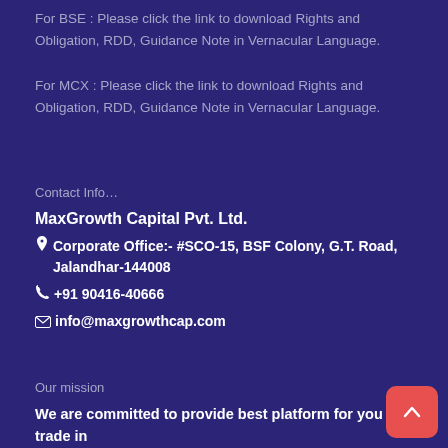For BSE : Please click the link to download Rights and Obligation, RDD, Guidance Note in Vernacular Language.
For MCX : Please click the link to download Rights and Obligation, RDD, Guidance Note in Vernacular Language.
Contact Info...
MaxGrowth Capital Pvt. Ltd.
Corporate Office:- #SCO-15, BSF Colony, G.T. Road, Jalandhar-144008
+91 90416-40666
info@maxgrowthcap.com
Our mission
We are committed to provide best platform for you to trade in